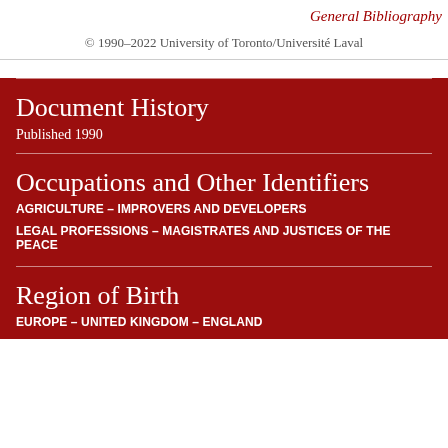General Bibliography
© 1990–2022 University of Toronto/Université Laval
Document History
Published 1990
Occupations and Other Identifiers
AGRICULTURE – IMPROVERS AND DEVELOPERS
LEGAL PROFESSIONS – MAGISTRATES AND JUSTICES OF THE PEACE
Region of Birth
EUROPE – UNITED KINGDOM – ENGLAND